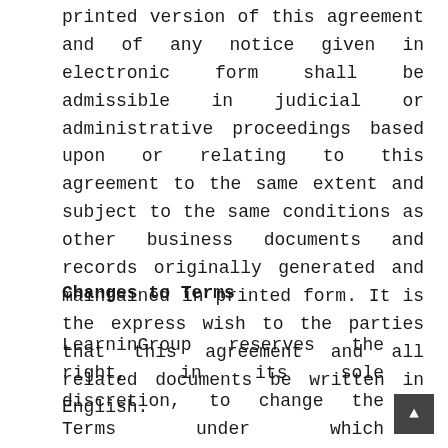printed version of this agreement and of any notice given in electronic form shall be admissible in judicial or administrative proceedings based upon or relating to this agreement to the same extent and subject to the same conditions as other business documents and records originally generated and maintained in printed form. It is the express wish to the parties that this agreement and all related documents be written in English.
Changes to Terms
LearninGroup reserves the right, in its sole discretion, to change the Terms under which http://www.learningroup.org is